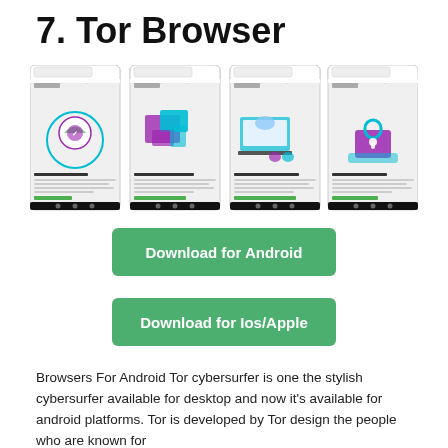7. Tor Browser
[Figure (screenshot): Four smartphone screenshots of Tor Browser app showing onboarding screens: 'You're ready', 'Send messages and images', 'Travel a distance and network', and 'Choose your experience']
[Figure (other): Green button labeled 'Download for Android']
[Figure (other): Green button labeled 'Download for Ios/Apple']
Browsers For Android Tor cybersurfer is one the stylish cybersurfer available for desktop and now it's available for android platforms. Tor is developed by Tor design the people who are known for